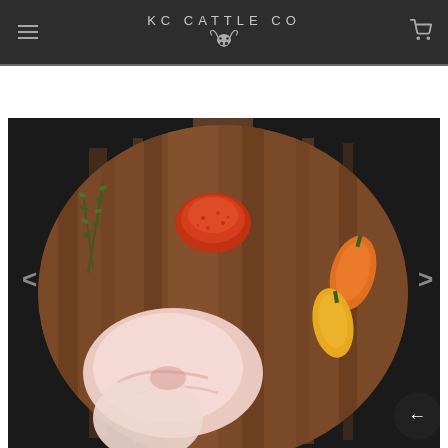KC CATTLE CO
[Figure (photo): Overhead shot of a round wooden cutting board on a dark background, displaying raw chicken breast pieces, a pile of red chili spice, sprigs of fresh thyme/herbs, and orange/yellow mini sweet peppers. Left and right navigation arrows flank the image. A dark circular back button with a left arrow is visible at the bottom right.]